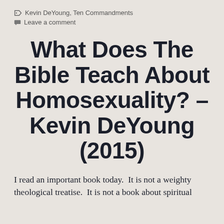Kevin DeYoung, Ten Commandments
Leave a comment
What Does The Bible Teach About Homosexuality? – Kevin DeYoung (2015)
I read an important book today.  It is not a weighty theological treatise.  It is not a book about spiritual